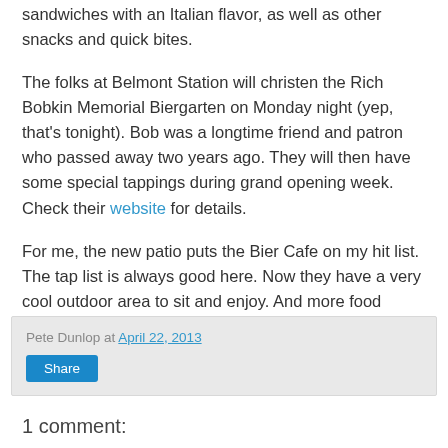sandwiches with an Italian flavor, as well as other snacks and quick bites.
The folks at Belmont Station will christen the Rich Bobkin Memorial Biergarten on Monday night (yep, that's tonight). Bob was a longtime friend and patron who passed away two years ago. They will then have some special tappings during grand opening week. Check their website for details.
For me, the new patio puts the Bier Cafe on my hit list. The tap list is always good here. Now they have a very cool outdoor area to sit and enjoy. And more food choices is a smart idea.
Pete Dunlop at April 22, 2013
Share
1 comment: